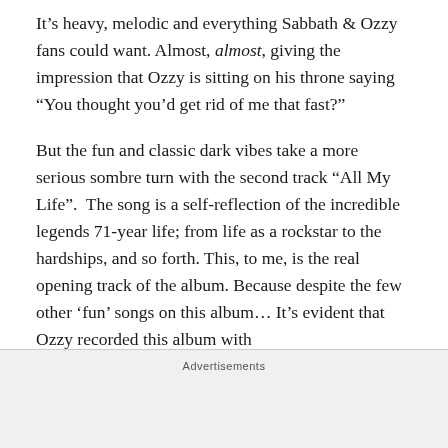It’s heavy, melodic and everything Sabbath & Ozzy fans could want. Almost, almost, giving the impression that Ozzy is sitting on his throne saying “You thought you’d get rid of me that fast?”
But the fun and classic dark vibes take a more serious sombre turn with the second track “All My Life”. The song is a self-reflection of the incredible legends 71-year life; from life as a rockstar to the hardships, and so forth. This, to me, is the real opening track of the album. Because despite the few other ‘fun’ songs on this album… It’s evident that Ozzy recorded this album with
Advertisements